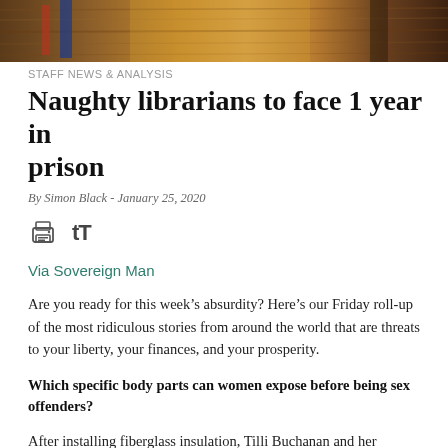[Figure (photo): Top portion of a library or wooden interior, cropped at top of page]
STAFF NEWS & ANALYSIS
Naughty librarians to face 1 year in prison
By Simon Black - January 25, 2020
[Figure (other): Print icon and font-resize (tT) icon]
Via Sovereign Man
Are you ready for this week's absurdity? Here's our Friday roll-up of the most ridiculous stories from around the world that are threats to your liberty, your finances, and your prosperity.
Which specific body parts can women expose before being sex offenders?
After installing fiberglass insulation, Tilli Buchanan and her